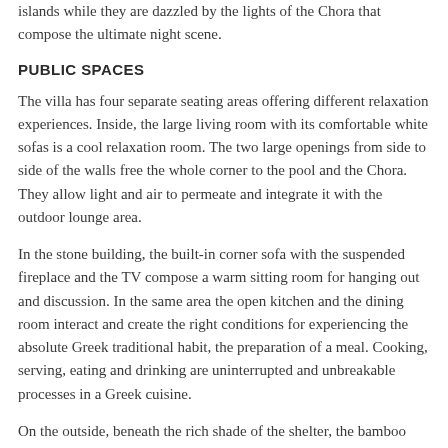islands while they are dazzled by the lights of the Chora that compose the ultimate night scene.
PUBLIC SPACES
The villa has four separate seating areas offering different relaxation experiences. Inside, the large living room with its comfortable white sofas is a cool relaxation room. The two large openings from side to side of the walls free the whole corner to the pool and the Chora. They allow light and air to permeate and integrate it with the outdoor lounge area.
In the stone building, the built-in corner sofa with the suspended fireplace and the TV compose a warm sitting room for hanging out and discussion. In the same area the open kitchen and the dining room interact and create the right conditions for experiencing the absolute Greek traditional habit, the preparation of a meal. Cooking, serving, eating and drinking are uninterrupted and unbreakable processes in a Greek cuisine.
On the outside, beneath the rich shade of the shelter, the bamboo lounge, consisting of a bed and spacious armchairs, offers a sun-protected relaxation area. While in the evening, it is the most beautiful spot to gaze at the lights of the Chora and the iridescent of